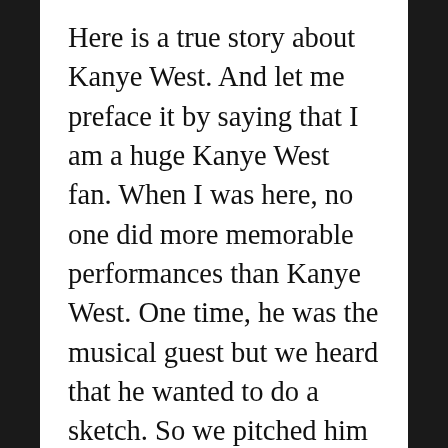Here is a true story about Kanye West. And let me preface it by saying that I am a huge Kanye West fan. When I was here, no one did more memorable performances than Kanye West. One time, he was the musical guest but we heard that he wanted to do a sketch. So we pitched him a sketch where he would interrupt different award show speeches saying that he made a mistake and he should have won. And Kanye said that’s hilarious because I do that. Which is good self awareness. And so we did the sketch. We had Kanye interrupt the Kids Choice Awards, the Nobel Prize. He interrupted a State Fair because he was upset his pumpkin didn’t win. Fantastic, a